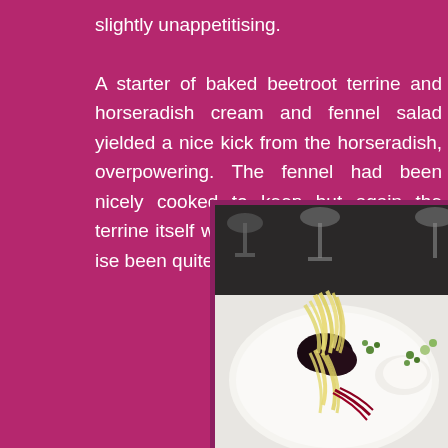slightly unappetitising. A starter of baked beetroot terrine and horseradish cream and fennel salad yielded a nice kick from the horseradish, overpowering. The fennel had been nicely cooked to keep but again the terrine itself was a little too salty. Otherwise been quite tasty.
[Figure (photo): A restaurant plate with a beetroot terrine, shaved fennel salad, horseradish cream and red sauce drizzle garnished with microgreens, with wine glasses visible in the background on a white tablecloth.]